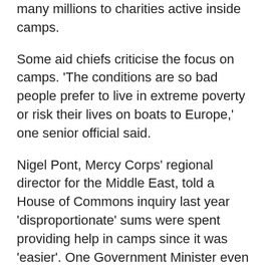many millions to charities active inside camps.
Some aid chiefs criticise the focus on camps. 'The conditions are so bad people prefer to live in extreme poverty or risk their lives on boats to Europe,' one senior official said.
Nigel Pont, Mercy Corps' regional director for the Middle East, told a House of Commons inquiry last year 'disproportionate' sums were spent providing help in camps since it was 'easier'. One Government Minister even agreed with him.
But when Azraq opened on a site selected by Jordan, UN officials boasted it had been planned carefully after studying shortcomings of other refugee camps and Britain insisted this would 'enhance the delivery of services'.